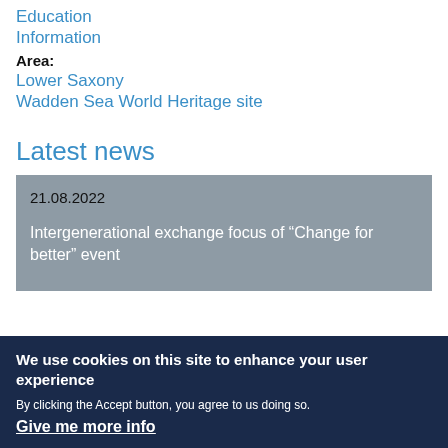Education
Information
Area:
Lower Saxony
Wadden Sea World Heritage site
Latest news
21.08.2022

Intergenerational exchange focus of “Change for better” event
We use cookies on this site to enhance your user experience

By clicking the Accept button, you agree to us doing so.

Give me more info